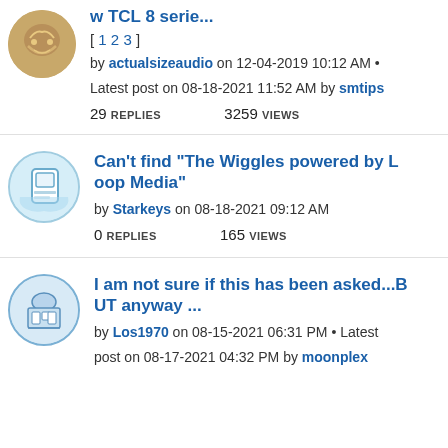w TCL 8 serie... [1 2 3] by actualsizeaudio on 12-04-2019 10:12 AM • Latest post on 08-18-2021 11:52 AM by smtips 29 REPLIES 3259 VIEWS
Can't find "The Wiggles powered by Loop Media" by Starkeys on 08-18-2021 09:12 AM 0 REPLIES 165 VIEWS
I am not sure if this has been asked...BUT anyway ... by Los1970 on 08-15-2021 06:31 PM • Latest post on 08-17-2021 04:32 PM by moonplex 7 REPLIES 818 VIEWS